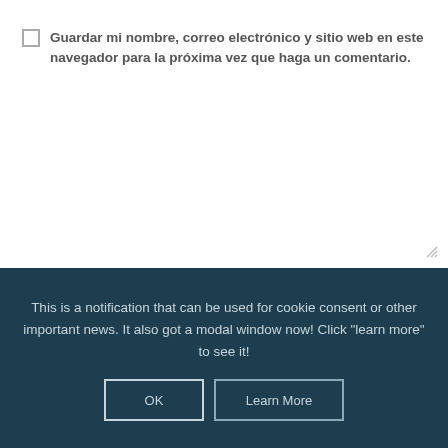Guardar mi nombre, correo electrónico y sitio web en este navegador para la próxima vez que haga un comentario.
This is a notification that can be used for cookie consent or other important news. It also got a modal window now! Click "learn more" to see it!
OK
Learn More